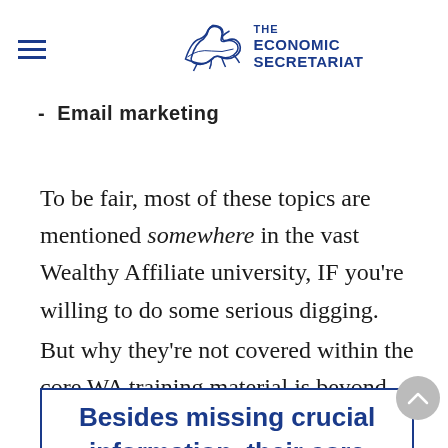THE ECONOMIC SECRETARIAT
- Email marketing
To be fair, most of these topics are mentioned somewhere in the vast Wealthy Affiliate university, IF you’re willing to do some serious digging.
But why they’re not covered within the core WA training material is beyond me.
Besides missing crucial information, their core training